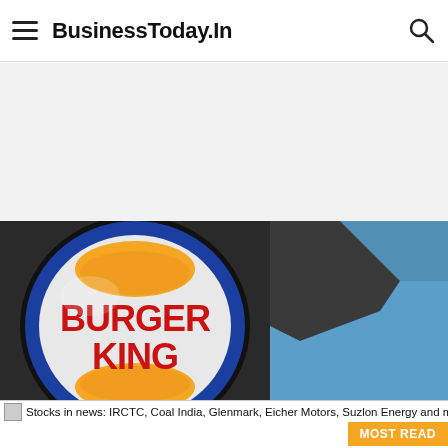BusinessToday.In
[Figure (photo): Burger King illuminated sign with logo — orange bun top and bottom, red text BURGER KING in center on white oval with blue ring border, mounted on dark building structure against blue sky background]
Stocks in news: IRCTC, Coal India, Glenmark, Eicher Motors, Suzlon Energy and more
MOST READ